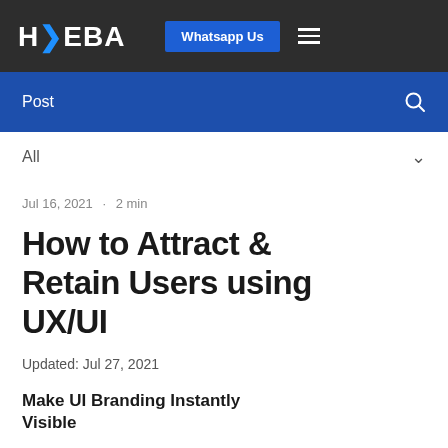HKEBA  Whatsapp Us  ☰
Post
All
Jul 16, 2021 · 2 min
How to Attract & Retain Users using UX/UI
Updated: Jul 27, 2021
Make UI Branding Instantly Visible